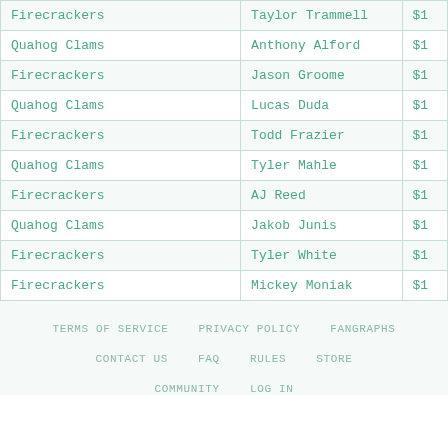| Team | Player | Price |
| --- | --- | --- |
| Firecrackers | Taylor Trammell | $1 |
| Quahog Clams | Anthony Alford | $1 |
| Firecrackers | Jason Groome | $1 |
| Quahog Clams | Lucas Duda | $1 |
| Firecrackers | Todd Frazier | $1 |
| Quahog Clams | Tyler Mahle | $1 |
| Firecrackers | AJ Reed | $1 |
| Quahog Clams | Jakob Junis | $1 |
| Firecrackers | Tyler White | $1 |
| Firecrackers | Mickey Moniak | $1 |
TERMS OF SERVICE   PRIVACY POLICY   FANGRAPHS   CONTACT US   FAQ   RULES   STORE   COMMUNITY   LOG IN